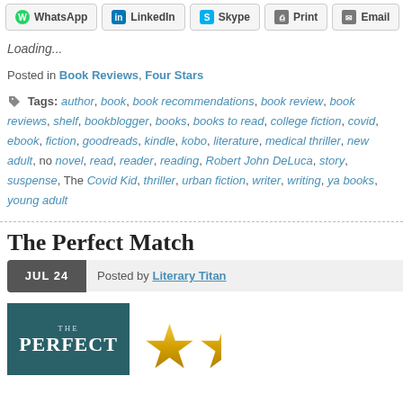[Figure (screenshot): Share buttons row: WhatsApp, LinkedIn, Skype, Print, Email]
Loading...
Posted in Book Reviews, Four Stars
Tags: author, book, book recommendations, book review, book reviews, shelf, bookblogger, books, books to read, college fiction, covid, ebook, fiction, goodreads, kindle, kobo, literature, medical thriller, new adult, novel, read, reader, reading, Robert John DeLuca, story, suspense, The Covid Kid, thriller, urban fiction, writer, writing, ya books, young adult
The Perfect Match
JUL 24  Posted by Literary Titan
[Figure (photo): Book cover showing 'THE PERFECT' text on teal background, and gold star rating icons]